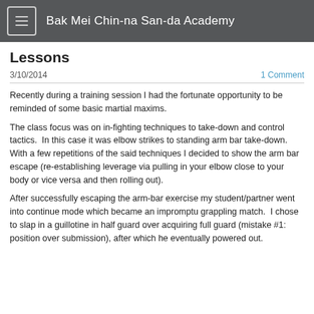Bak Mei Chin-na San-da Academy
Lessons
3/10/2014
1 Comment
Recently during a training session I had the fortunate opportunity to be reminded of some basic martial maxims.
The class focus was on in-fighting techniques to take-down and control tactics.  In this case it was elbow strikes to standing arm bar take-down.  With a few repetitions of the said techniques I decided to show the arm bar escape (re-establishing leverage via pulling in your elbow close to your body or vice versa and then rolling out).
After successfully escaping the arm-bar exercise my student/partner went into continue mode which became an impromptu grappling match.  I chose to slap in a guillotine in half guard over acquiring full guard (mistake #1: position over submission), after which he eventually powered out.